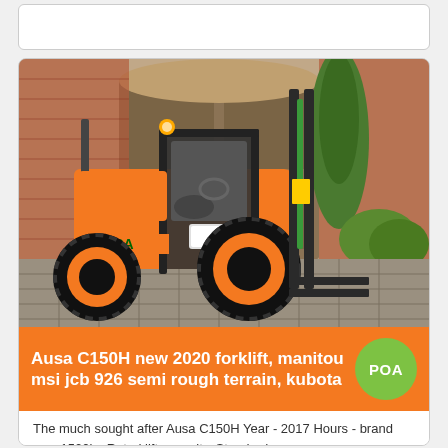[Figure (photo): Empty white rounded rectangle box at top of page]
[Figure (photo): Photo of an orange AUSA C150H forklift with black roll cage, large off-road tires, and forks raised, parked on brick paving in front of a garden with a wooden gate and a tall cypress tree. Red brick building visible in background.]
Ausa C150H new 2020 forklift, manitou msi jcb 926 semi rough terrain, kubota
POA
The much sought after Ausa C150H Year - 2017 Hours - brand new 1500kg Rated lift capacity. Standard